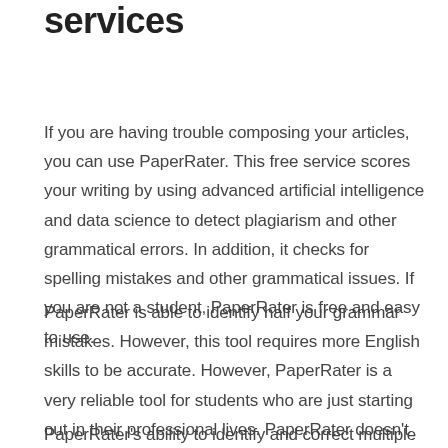services
If you are having trouble composing your articles, you can use PaperRater. This free service scores your writing by using advanced artificial intelligence and data science to detect plagiarism and other grammatical errors. In addition, it checks for spelling mistakes and other grammatical issues. If you are not a student, PaperRater is free and easy to use.
PaperRater is able to identify half your grammar mistakes. However, this tool requires more English skills to be accurate. However, PaperRater is a very reliable tool for students who are just starting out in their professional lives. PaperRater doesn't require you to install any software. It is cloud-based, and therefore does not require installation.
PaperRater's ability to identify and correct multiple